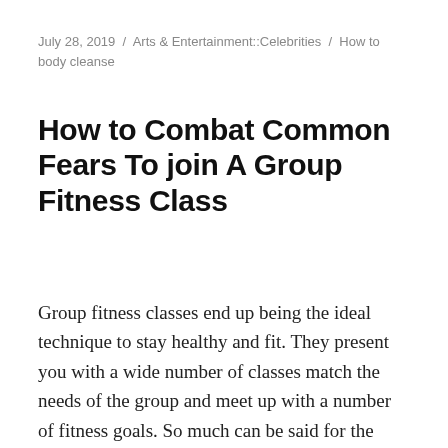July 28, 2019 / Arts & Entertainment::Celebrities / How to body cleanse
How to Combat Common Fears To join A Group Fitness Class
Group fitness classes end up being the ideal technique to stay healthy and fit. They present you with a wide number of classes match the needs of the group and meet up with a number of fitness goals. So much can be said for the benefits of joining a fitness class. Group fitness courses are by far the coolest form of exercise,